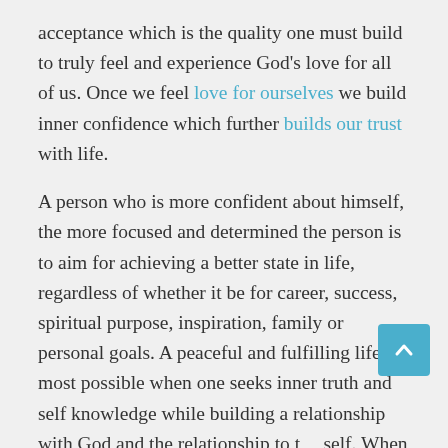acceptance which is the quality one must build to truly feel and experience God’s love for all of us. Once we feel love for ourselves we build inner confidence which further builds our trust with life.
A person who is more confident about himself, the more focused and determined the person is to aim for achieving a better state in life, regardless of whether it be for career, success, spiritual purpose, inspiration, family or personal goals. A peaceful and fulfilling life is most possible when one seeks inner truth and self knowledge while building a relationship with God and the relationship to the self. When building a relationship with the self may mean we are taken through character building life experiences we do not prefer. We must push